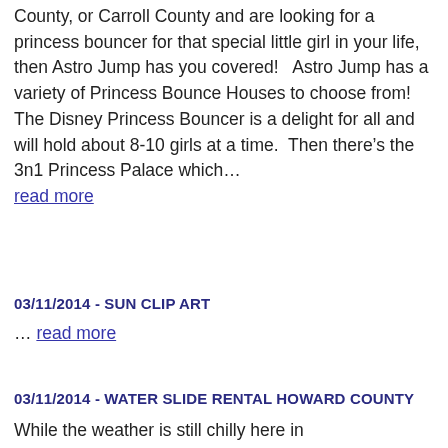County, or Carroll County and are looking for a princess bouncer for that special little girl in your life, then Astro Jump has you covered!   Astro Jump has a variety of Princess Bounce Houses to choose from!  The Disney Princess Bouncer is a delight for all and will hold about 8-10 girls at a time.  Then there's the 3n1 Princess Palace which… read more
03/11/2014 - SUN CLIP ART
… read more
03/11/2014 - WATER SLIDE RENTAL HOWARD COUNTY
While the weather is still chilly here in